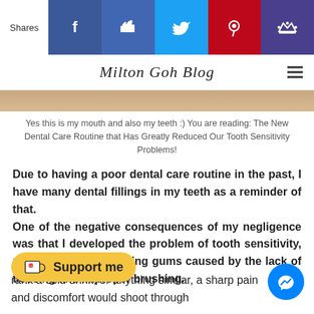[Figure (screenshot): Social sharing bar with Shares label, Facebook, Like, Twitter, Pinterest, and Crown icons on colored backgrounds]
Milton Goh Blog
[Figure (photo): Close-up photo of a person's mouth and teeth]
Yes this is my mouth and also my teeth :) You are reading: The New Dental Care Routine that Has Greatly Reduced Our Tooth Sensitivity Problems!
Due to having a poor dental care routine in the past, I have many dental fillings in my teeth as a reminder of that. One of the negative consequences of my negligence was that I developed the problem of tooth sensitivity, probably due to receding gums caused by the lack of flossing and improper brushing.
[Figure (other): Support me button with coffee cup icon on yellow background]
...rank a cold drink, or anything similar, a sharp pain and discomfort would shoot through